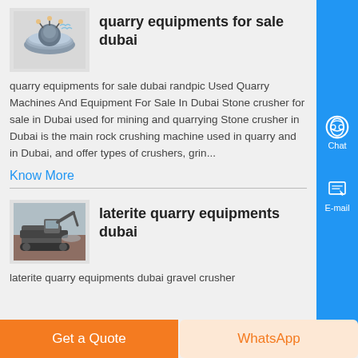[Figure (illustration): Thumbnail image of quarry/mining equipment - disk-shaped industrial machine]
quarry equipments for sale dubai
quarry equipments for sale dubai randpic Used Quarry Machines And Equipment For Sale In Dubai Stone crusher for sale in Dubai used for mining and quarrying Stone crusher in Dubai is the main rock crushing machine used in quarry and in Dubai, and offer types of crushers, grin...
Know More
[Figure (photo): Thumbnail image of laterite quarry equipment - machinery on a work site]
laterite quarry equipments dubai
laterite quarry equipments dubai gravel crusher
Get a Quote
WhatsApp